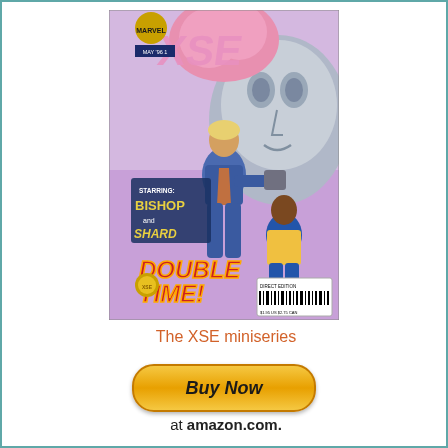[Figure (illustration): Comic book cover of 'XSE' miniseries issue #1, showing Bishop and a female character in action poses, with a large villain face in the background. Text reads 'STARRING: BISHOP and SHARD' and 'DOUBLE TIME!' with a barcode labeled 'DIRECT EDITION'. Marvel Comics.]
The XSE miniseries
[Figure (other): Buy Now button - orange/yellow rounded rectangle button with italic bold text 'Buy Now']
at amazon.com.